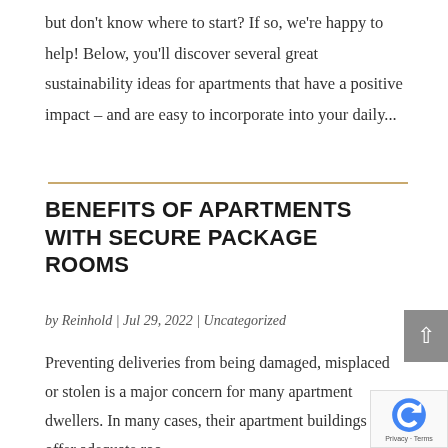but don't know where to start?  If so, we're happy to help!  Below, you'll discover several great sustainability ideas for apartments that have a positive impact – and are easy to incorporate into your daily...
BENEFITS OF APARTMENTS WITH SECURE PACKAGE ROOMS
by Reinhold | Jul 29, 2022 | Uncategorized
Preventing deliveries from being damaged, misplaced or stolen is a major concern for many apartment dwellers.  In many cases, their apartment buildings don't offer adequate roo...